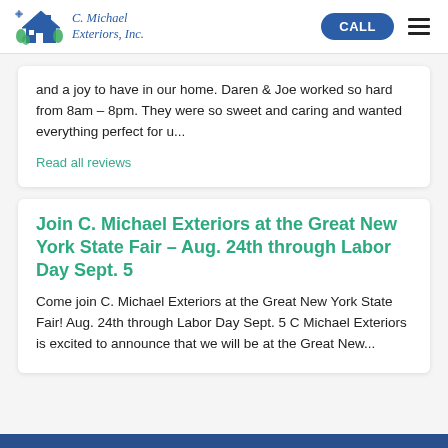C. Michael Exteriors, Inc. — CALL
and a joy to have in our home. Daren & Joe worked so hard from 8am – 8pm. They were so sweet and caring and wanted everything perfect for u...
Read all reviews
Join C. Michael Exteriors at the Great New York State Fair – Aug. 24th through Labor Day Sept. 5
Come join C. Michael Exteriors at the Great New York State Fair! Aug. 24th through Labor Day Sept. 5 C Michael Exteriors is excited to announce that we will be at the Great New...